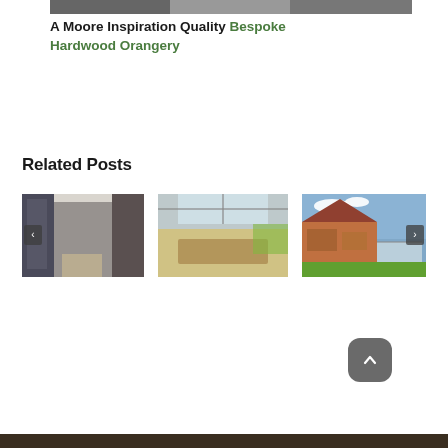[Figure (photo): Top strip photo of a bespoke hardwood orangery interior]
A Moore Inspiration Quality Bespoke Hardwood Orangery
Related Posts
[Figure (photo): Interior photo of a glass conservatory/orangery corridor with skylight]
[Figure (photo): Interior photo of a dining room orangery with skylight and garden view]
[Figure (photo): Exterior photo of a brick house with a glass extension/orangery]